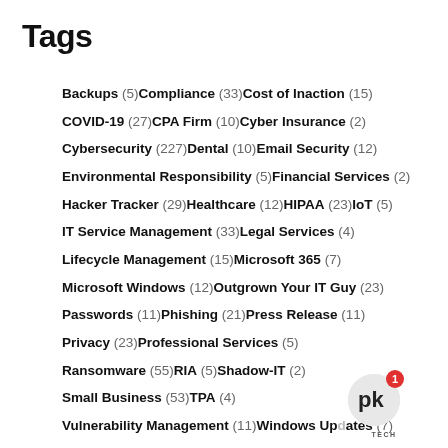Tags
Backups (5) Compliance (33) Cost of Inaction (15) COVID-19 (27) CPA Firm (10) Cyber Insurance (2) Cybersecurity (227) Dental (10) Email Security (12) Environmental Responsibility (5) Financial Services (2) Hacker Tracker (29) Healthcare (12) HIPAA (23) IoT (5) IT Service Management (33) Legal Services (4) Lifecycle Management (15) Microsoft 365 (7) Microsoft Windows (12) Outgrown Your IT Guy (23) Passwords (11) Phishing (21) Press Release (11) Privacy (23) Professional Services (5) Ransomware (55) RIA (5) Shadow-IT (2) Small Business (53) TPA (4) Vulnerability Management (11) Windows Updates (7) Work From Home (15)
[Figure (logo): PK Tech logo with notification badge showing 1]